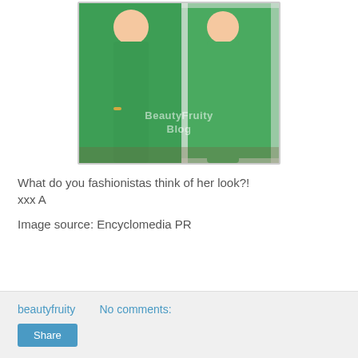[Figure (photo): Woman wearing a green floor-length dress photographed in front of a mirror, with a BeautyFruity Blog watermark overlaid on the image.]
What do you fashionistas think of her look?!
xxx A
Image source: Encyclomedia PR
beautyfruity    No comments:
Share